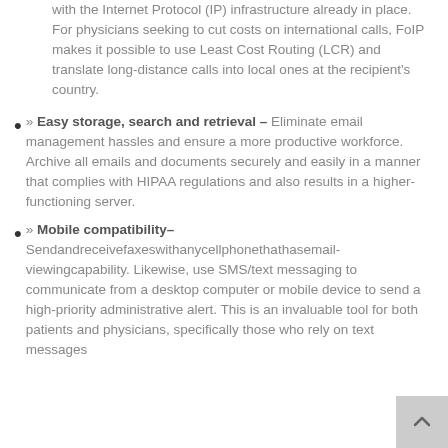...with the Internet Protocol (IP) infrastructure already in place. For physicians seeking to cut costs on international calls, FoIP makes it possible to use Least Cost Routing (LCR) and translate long-distance calls into local ones at the recipient's country.
» Easy storage, search and retrieval – Eliminate email management hassles and ensure a more productive workforce. Archive all emails and documents securely and easily in a manner that complies with HIPAA regulations and also results in a higher-functioning server.
» Mobile compatibility– Send and receive faxes with any cell phone that has email-viewing capability. Likewise, use SMS/text messaging to communicate from a desktop computer or mobile device to send a high-priority administrative alert. This is an invaluable tool for both patients and physicians, specifically those who rely on text messages